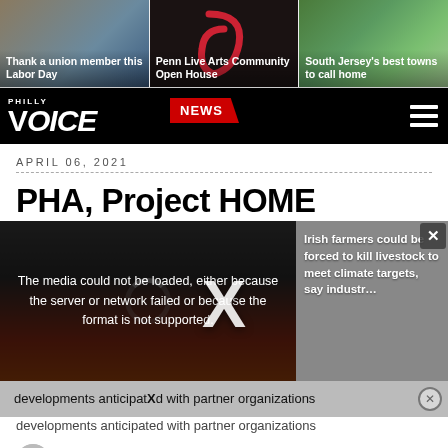[Figure (screenshot): Three promotional image links: 'Thank a union member this Labor Day', 'Penn Live Arts Community Open House', and 'South Jersey's best towns to call home']
PHILLY VOICE | NEWS
APRIL 06, 2021
PHA, Project HOME
[Figure (screenshot): Video player showing media error overlay: 'The media could not be loaded, either because the server or network failed or because the format is not supported.' Side panel shows text about Irish farmers being forced to kill livestock to meet climate targets. Large X close button overlaid.]
developments anticipated with partner organizations
BY MICHAEL TANENBAUM